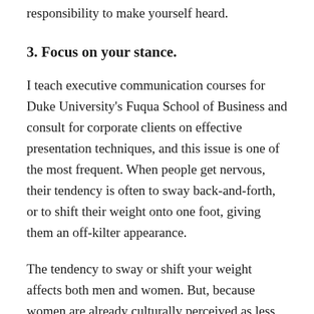responsibility to make yourself heard.
3. Focus on your stance.
I teach executive communication courses for Duke University's Fuqua School of Business and consult for corporate clients on effective presentation techniques, and this issue is one of the most frequent. When people get nervous, their tendency is often to sway back-and-forth, or to shift their weight onto one foot, giving them an off-kilter appearance.
The tendency to sway or shift your weight affects both men and women. But, because women are already culturally perceived as less powerful, they can benefit more from a strong stance that conveys